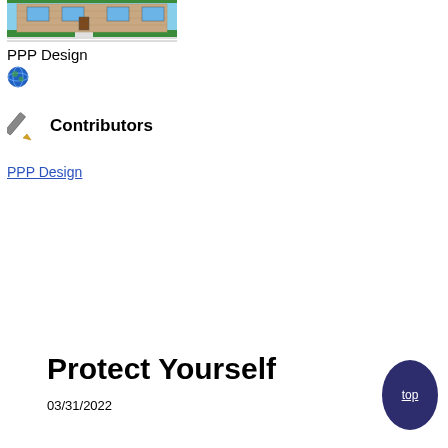[Figure (illustration): Cartoon illustration of a house/building with green lawn and sidewalk, brick facade, blue windows]
PPP Design
[Figure (illustration): Small globe/world icon (circular, blue and green)]
[Figure (illustration): Pen/pencil icon (diagonal pen pointing right with yellow tip)]
Contributors
PPP Design
Protect Yourself
03/31/2022